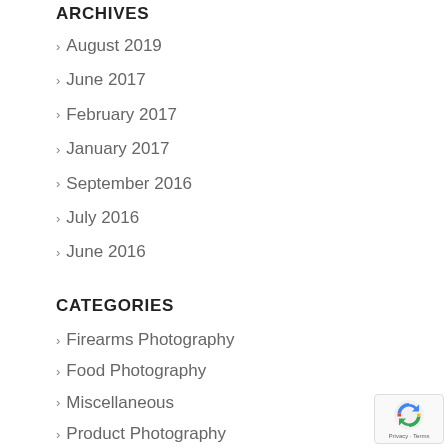ARCHIVES
August 2019
June 2017
February 2017
January 2017
September 2016
July 2016
June 2016
CATEGORIES
Firearms Photography
Food Photography
Miscellaneous
Product Photography
Shoot Details
Studio Photography